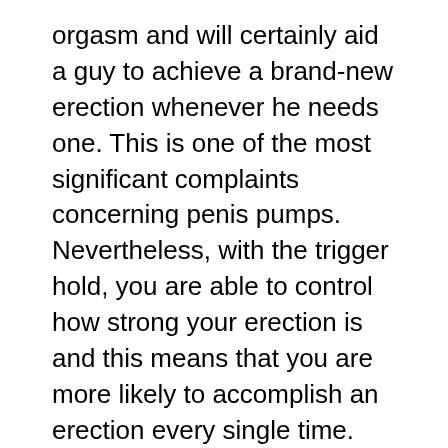orgasm and will certainly aid a guy to achieve a brand-new erection whenever he needs one. This is one of the most significant complaints concerning penis pumps. Nevertheless, with the trigger hold, you are able to control how strong your erection is and this means that you are more likely to accomplish an erection every single time.
One of the primary disadvantages of penis pumps is that they can take a long period of time to come to be effective. You may discover that you need to use them several times before you start to see any results. This can be aggravating, particularly if you are like the majority of males who only have restricted resources. As a result of this,